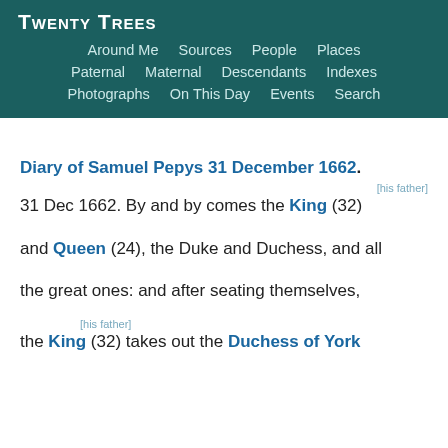Twenty Trees
Around Me  Sources  People  Places
Paternal  Maternal  Descendants  Indexes
Photographs  On This Day  Events  Search
Diary of Samuel Pepys 31 December 1662.
[his father]
31 Dec 1662. By and by comes the King (32)

and Queen (24), the Duke and Duchess, and all

the great ones: and after seating themselves,

[his father]
the King (32) takes out the Duchess of York